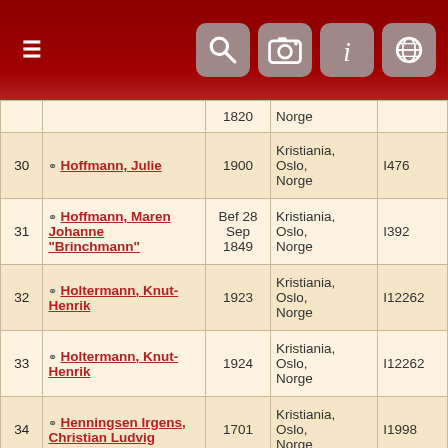Navigation header with hamburger menu and icons
| # | Name | Year | Place | ID |
| --- | --- | --- | --- | --- |
|  |  | 1820 | Norge |  |
| 30 | Hoffmann, Julie | 1900 | Kristiania, Oslo, Norge | I476 |
| 31 | Hoffmann, Maren Johanne "Brinchmann" | Bef 28 Sep 1849 | Kristiania, Oslo, Norge | I392 |
| 32 | Holtermann, Knut-Henrik | 1923 | Kristiania, Oslo, Norge | I12262 |
| 33 | Holtermann, Knut-Henrik | 1924 | Kristiania, Oslo, Norge | I12262 |
| 34 | Henningsen Irgens, Christian Ludvig | 1701 | Kristiania, Oslo, Norge | I1998 |
| 35 | Kent, Charles | 1900 | Kristiania, Oslo, Norge | I7549 |
| 36 | Kent, Georg | 1865 | Kristiania, Oslo, Norge | I7547 |
| 37 | Kent, William | 1900 | Kristiania, Oslo, | I7550 |